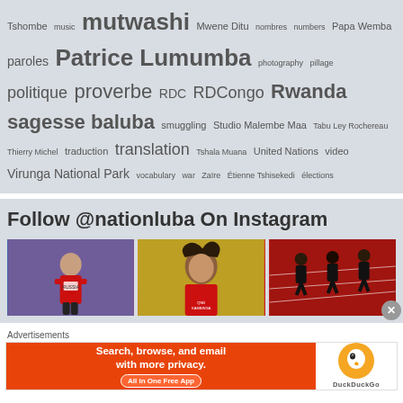Tshombe music mutwashi Mwene Ditu nombres numbers Papa Wemba paroles Patrice Lumumba photography pillage politique proverbe RDC RDCongo Rwanda sagesse baluba smuggling Studio Malembe Maa Tabu Ley Rochereau Thierry Michel traduction translation Tshala Muana United Nations video Virunga National Park vocabulary war Zaïre Étienne Tshisekedi élections
Follow @nationluba On Instagram
[Figure (photo): Three Instagram photos of athletes running/competing in track events]
Advertisements
[Figure (infographic): DuckDuckGo advertisement banner: Search, browse, and email with more privacy. All in One Free App]